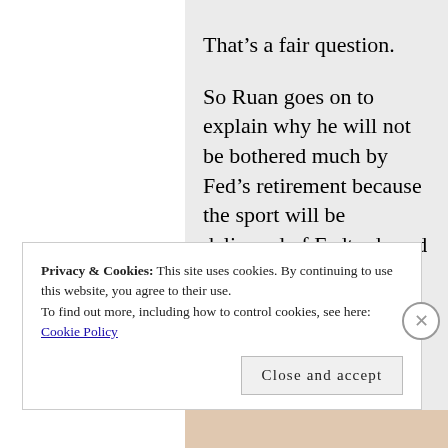That's a fair question.

So Ruan goes on to explain why he will not be bothered much by Fed's retirement because the sport will be delivered of Fedtards and because he's a “real” tennis fan. I replied to that comment:
Privacy & Cookies: This site uses cookies. By continuing to use this website, you agree to their use.
To find out more, including how to control cookies, see here: Cookie Policy
Close and accept